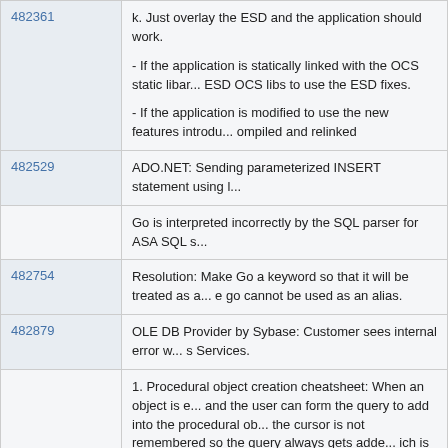| ID | Description |
| --- | --- |
| 482361 | k. Just overlay the ESD and the application should work.
- If the application is statically linked with the OCS static libar... ESD OCS libs to use the ESD fixes.
- If the application is modified to use the new features introdu... ompiled and relinked |
| 482529 | ADO.NET: Sending parameterized INSERT statement using l... |
|  | Go is interpreted incorrectly by the SQL parser for ASA SQL s... |
| 482754 | Resolution: Make Go a keyword so that it will be treated as a... e go cannot be used as an alias. |
| 482879 | OLE DB Provider by Sybase: Customer sees internal error w... s Services. |
|  | 1. Procedural object creation cheatsheet: When an object is e... and the user can form the query to add into the procedural ob... the cursor is not remembered so the query always gets adde... ich is not what the user intended.
2. Event Handler cheatsheet: Using this cheatsheet the user ... d adds the query. If the user then attempts to add another qu... in the editor removes the header and the contents become as...
begin
print 'Replace this print line with your SQL statements' |